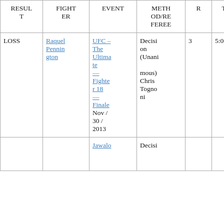| RESULT | FIGHTER | EVENT | METHOD/REFEREE | R | TIME |
| --- | --- | --- | --- | --- | --- |
| LOSS | Raquel Pennington | UFC – The Ultimate Fighter 18 – Finale Nov / 30 / 2013 | Decision (Unanimous) Chris Tognoni | 3 | 5:00 |
|  |  | Jawale | Decisi |  |  |